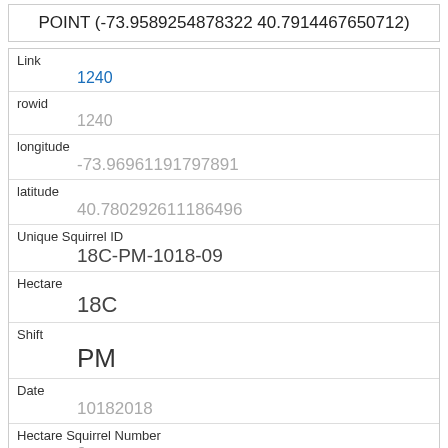POINT (-73.9589254878322 40.7914467650712)
| Field | Value |
| --- | --- |
| Link | 1240 |
| rowid | 1240 |
| longitude | -73.96961191797891 |
| latitude | 40.780292611186496 |
| Unique Squirrel ID | 18C-PM-1018-09 |
| Hectare | 18C |
| Shift | PM |
| Date | 10182018 |
| Hectare Squirrel Number | 9 |
| Age |  |